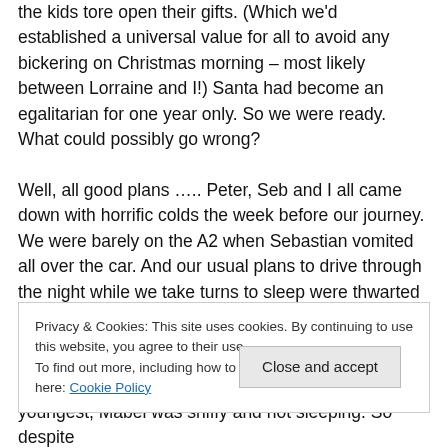the kids tore open their gifts. (Which we'd established a universal value for all to avoid any bickering on Christmas morning – most likely between Lorraine and I!) Santa had become an egalitarian for one year only. So we were ready. What could possibly go wrong?
Well, all good plans ….. Peter, Seb and I all came down with horrific colds the week before our journey. We were barely on the A2 when Sebastian vomited all over the car. And our usual plans to drive through the night while we take turns to sleep were thwarted by our illnesses. Neither Peter nor I could drive for more than twenty minutes
Privacy & Cookies: This site uses cookies. By continuing to use this website, you agree to their use.
To find out more, including how to control cookies, see here: Cookie Policy
Close and accept
youngest, Mabel was sniffy and not sleeping. So despite